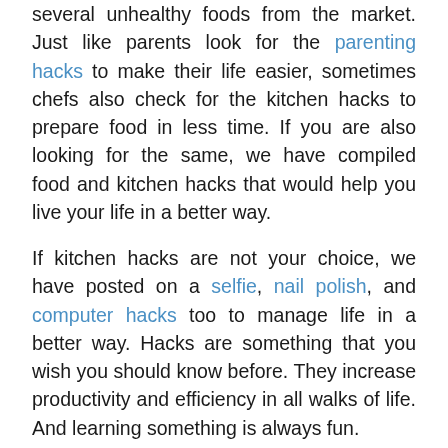several unhealthy foods from the market. Just like parents look for the parenting hacks to make their life easier, sometimes chefs also check for the kitchen hacks to prepare food in less time. If you are also looking for the same, we have compiled food and kitchen hacks that would help you live your life in a better way.
If kitchen hacks are not your choice, we have posted on a selfie, nail polish, and computer hacks too to manage life in a better way. Hacks are something that you wish you should know before. They increase productivity and efficiency in all walks of life. And learning something is always fun.
Whether you are a chef or only want to master your cooking skills, food hacks save both time and money. They are the most popular kind of